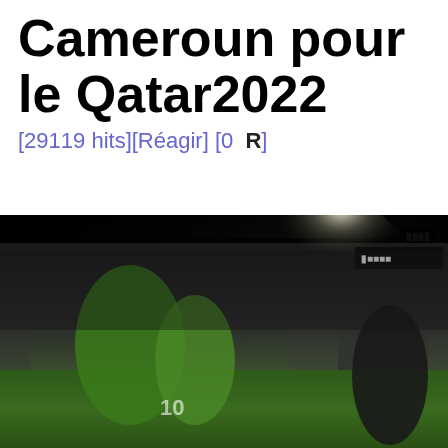Cameroun pour le Qatar2022
[29119 hits][Réagir] [0  R]
[Figure (photo): Football players celebrating on a stadium pitch at night, wearing green jerseys with number 10 visible, bright floodlights in background, crowd visible, another person in dark jacket on the right side. A logo/watermark visible in upper right corner.]